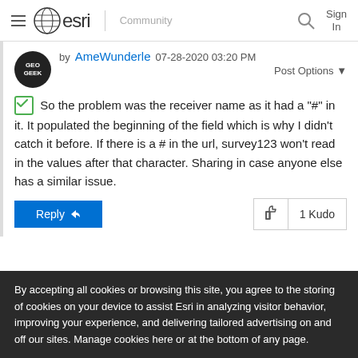esri | Community  Sign In
by AmeWunderle  07-28-2020 03:20 PM
Post Options ▼
✅ So the problem was the receiver name as it had a "#" in it. It populated the beginning of the field which is why I didn't catch it before. If there is a # in the url, survey123 won't read in the values after that character. Sharing in case anyone else has a similar issue.
Reply   1 Kudo
By accepting all cookies or browsing this site, you agree to the storing of cookies on your device to assist Esri in analyzing visitor behavior, improving your experience, and delivering tailored advertising on and off our sites. Manage cookies here or at the bottom of any page.